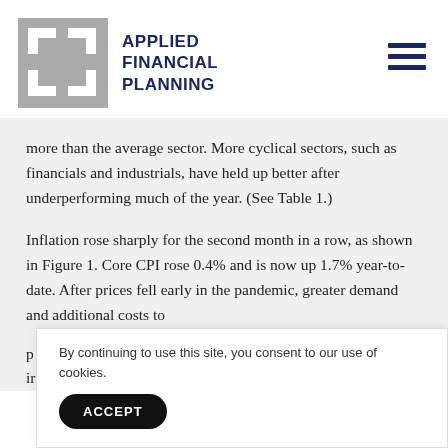[Figure (logo): Applied Financial Planning logo — grey interlocking square bracket shapes with dark navy text reading APPLIED FINANCIAL PLANNING]
more than the average sector. More cyclical sectors, such as financials and industrials, have held up better after underperforming much of the year. (See Table 1.)
Inflation rose sharply for the second month in a row, as shown in Figure 1. Core CPI rose 0.4% and is now up 1.7% year-to-date. After prices fell early in the pandemic, greater demand and additional costs to p ir
By continuing to use this site, you consent to our use of cookies.